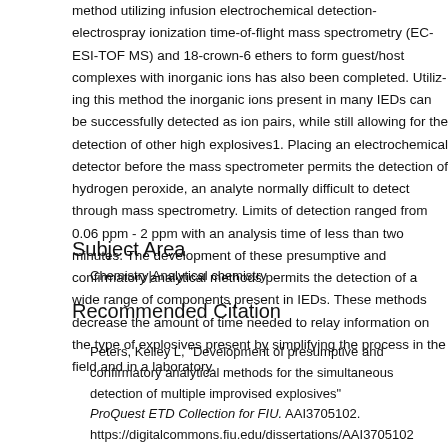method utilizing infusion electrochemical detection-electrospray ionization time-of-flight mass spectrometry (EC-ESI-TOF MS) and 18-crown-6 ethers to form guest/host complexes with inorganic ions has also been completed. Utilizing this method the inorganic ions present in many IEDs can be successfully detected as ion pairs, while still allowing for the detection of other high explosives1. Placing an electrochemical detector before the mass spectrometer permits the detection of hydrogen peroxide, an analyte normally difficult to detect through mass spectrometry. Limits of detection ranged from 0.06 ppm - 2 ppm with an analysis time of less than two minutes. The development of these presumptive and confirmatory analytical methods permits the detection of a wide range of components present in IEDs. These methods decrease the amount of time needed to relay information on the type of explosives present by simplifying the process in the field and in a laboratory.
Subject Area
Chemistry|Analytical chemistry
Recommended Citation
Peters, Kelley L, "Development of presumptive and confirmatory analytical methods for the simultaneous detection of multiple improvised explosive devices" ProQuest ETD Collection for FIU. AAI3705102. https://digitalcommons.fiu.edu/dissertations/AAI3705102